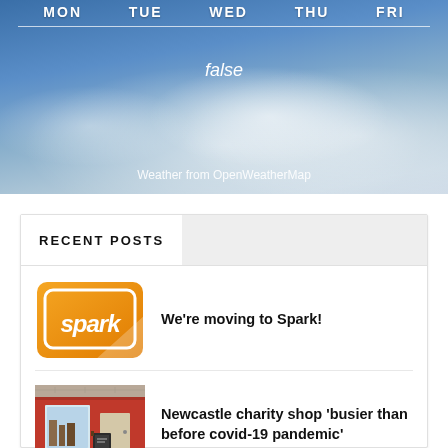[Figure (screenshot): Weather widget showing days of the week (MON, TUE, WED, THU, FRI) on a sky/cloud background with 'false' text and 'Weather from OpenWeatherMap' credit]
false
Weather from OpenWeatherMap
RECENT POSTS
[Figure (logo): Spark logo - orange square with white speech bubble shape and 'spark' text in white italic font]
We're moving to Spark!
[Figure (photo): Photo of a charity shop storefront with red signage and a chalkboard sign outside]
Newcastle charity shop 'busier than before covid-19 pandemic'
[Figure (photo): Photo of food bank items, canned goods and packaged food]
Marley Hill church group project donates 150 pairs of shoes to